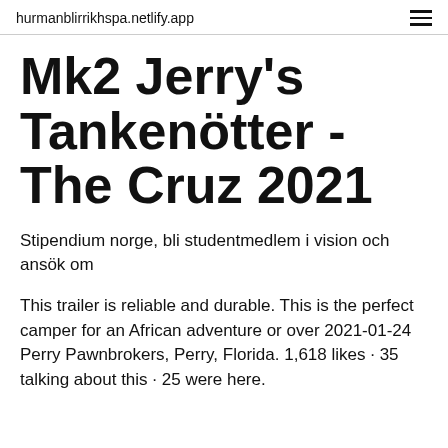hurmanblirrikhspa.netlify.app
Mk2 Jerry's Tankenötter - The Cruz 2021
Stipendium norge, bli studentmedlem i vision och ansök om
This trailer is reliable and durable. This is the perfect camper for an African adventure or over 2021-01-24 Perry Pawnbrokers, Perry, Florida. 1,618 likes · 35 talking about this · 25 were here.